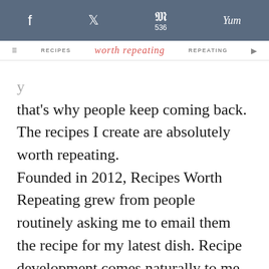f  [twitter bird icon]  536  Yum
RECIPES  worth repeating  REPEATING
that's why people keep coming back. The recipes I create are absolutely worth repeating. Founded in 2012, Recipes Worth Repeating grew from people routinely asking me to email them the recipe for my latest dish. Recipe development comes naturally to me and I find cooking relaxing. Originally from Nashville, Tennessee, I